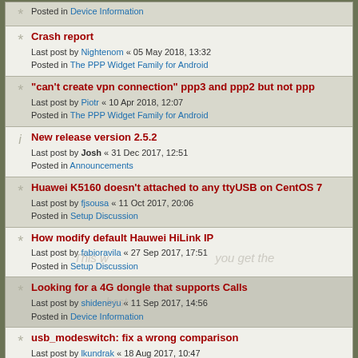Posted in Device Information
Crash report
Last post by Nightenom « 05 May 2018, 13:32
Posted in The PPP Widget Family for Android
"can't create vpn connection" ppp3 and ppp2 but not ppp
Last post by Piotr « 10 Apr 2018, 12:07
Posted in The PPP Widget Family for Android
New release version 2.5.2
Last post by Josh « 31 Dec 2017, 12:51
Posted in Announcements
Huawei K5160 doesn't attached to any ttyUSB on CentOS 7
Last post by fjsousa « 11 Oct 2017, 20:06
Posted in Setup Discussion
How modify default Hauwei HiLink IP
Last post by fabioravila « 27 Sep 2017, 17:51
Posted in Setup Discussion
Looking for a 4G dongle that supports Calls
Last post by shideneyu « 11 Sep 2017, 14:56
Posted in Device Information
usb_modeswitch: fix a wrong comparison
Last post by lkundrak « 18 Aug 2017, 10:47
Posted in Everything Coding
A patch for --help
Last post by lkundrak « 18 Aug 2017, 10:42
Posted in Everything Coding
ZTE MF833V , Telewell TW-LTE v2 , 19d2:1421